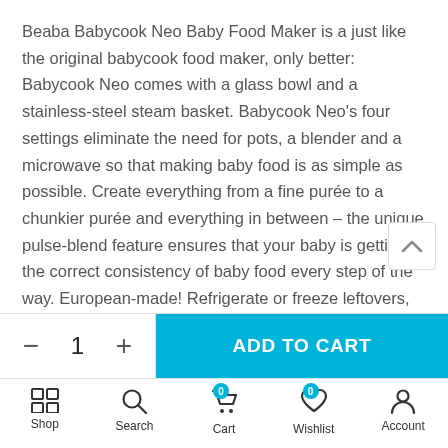Beaba Babycook Neo Baby Food Maker is a just like the original babycook food maker, only better: Babycook Neo comes with a glass bowl and a stainless-steel steam basket. Babycook Neo's four settings eliminate the need for pots, a blender and a microwave so that making baby food is as simple as possible. Create everything from a fine purée to a chunkier purée and everything in between – the unique pulse-blend feature ensures that your baby is getting the correct consistency of baby food every step of the way. European-made! Refrigerate or freeze leftovers, then simply defrost and reheat right in babycook®. Steam cooking locks in vitamins and nutrients. a multi-purpose mixing blade provides just